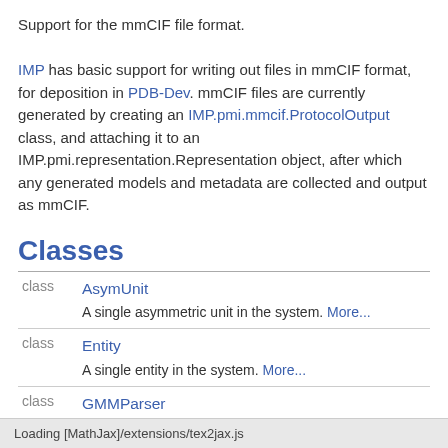Support for the mmCIF file format. IMP has basic support for writing out files in mmCIF format, for deposition in PDB-Dev. mmCIF files are currently generated by creating an IMP.pmi.mmcif.ProtocolOutput class, and attaching it to an IMP.pmi.representation.Representation object, after which any generated models and metadata are collected and output as mmCIF.
Classes
|  |  |
| --- | --- |
| class | AsymUnit
A single asymmetric unit in the system. More... |
| class | Entity
A single entity in the system. More... |
| class | GMMParser
Extract metadata from an EM density GMM file. More... |
| class | ProtocolOutput
Store modeling protocol as mmCIF. More... |
Loading [MathJax]/extensions/tex2jax.js